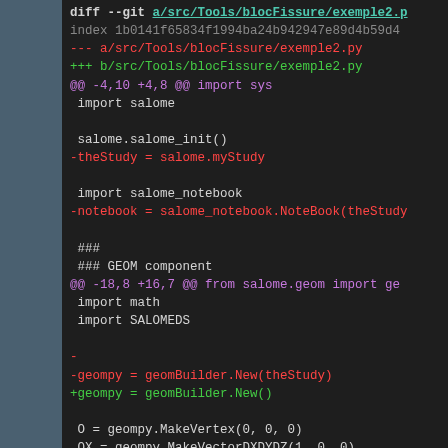[Figure (screenshot): Git diff output showing changes to a/src/Tools/blocFissure/exemple2.py Python file, displayed in a dark-themed code viewer with syntax highlighting. Shows removed lines (red), added lines (green), hunk headers (purple), and context lines (white/grey).]